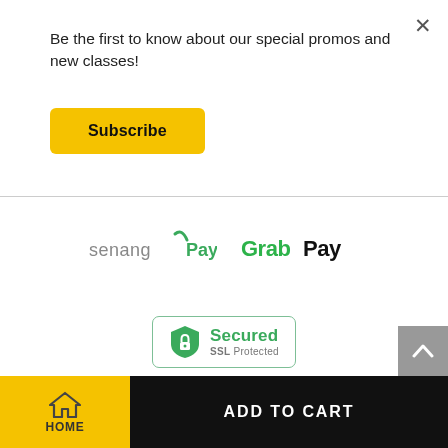Be the first to know about our special promos and new classes!
[Figure (other): Subscribe button — yellow rounded rectangle with bold text 'Subscribe']
[Figure (logo): senangPay payment logo]
[Figure (logo): GrabPay payment logo]
[Figure (logo): Secured SSL Protected badge with green shield icon]
Terms of Service | Privacy Policy | Terms & Conditions
HOME | ADD TO CART